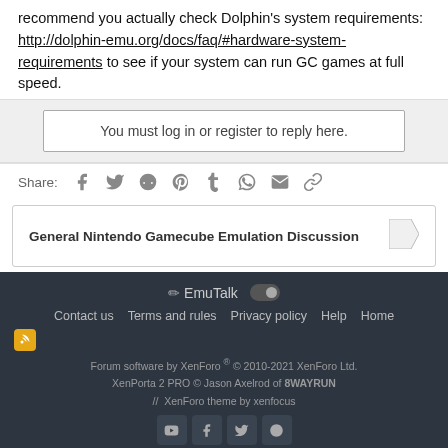recommend you actually check Dolphin's system requirements: http://dolphin-emu.org/docs/faq/#hardware-system-requirements to see if your system can run GC games at full speed.
You must log in or register to reply here.
Share:
General Nintendo Gamecube Emulation Discussion
EmuTalk | Contact us | Terms and rules | Privacy policy | Help | Home | Forum software by XenForo © 2010-2021 XenForo Ltd. XenPorta 2 PRO © Jason Axelrod of 8WAYRUN // XenForo theme by xenfocus